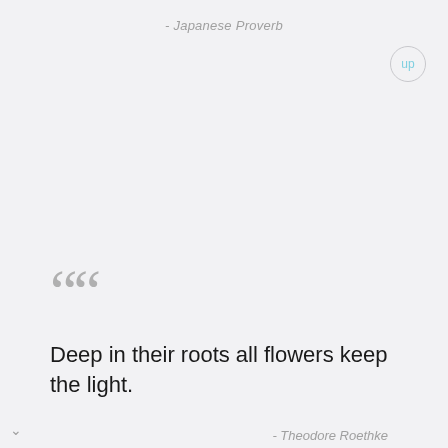- Japanese Proverb
““
Deep in their roots all flowers keep the light.
- Theodore Roethke